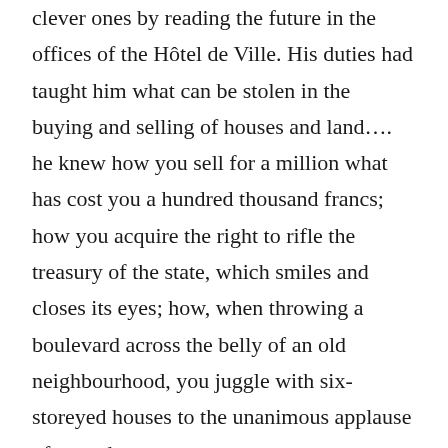clever ones by reading the future in the offices of the Hôtel de Ville. His duties had taught him what can be stolen in the buying and selling of houses and land…. he knew how you sell for a million what has cost you a hundred thousand francs; how you acquire the right to rifle the treasury of the state, which smiles and closes its eyes; how, when throwing a boulevard across the belly of an old neighbourhood, you juggle with six-storeyed houses to the unanimous applause of your dupes.
Aristide's employment at city hall gives him insider